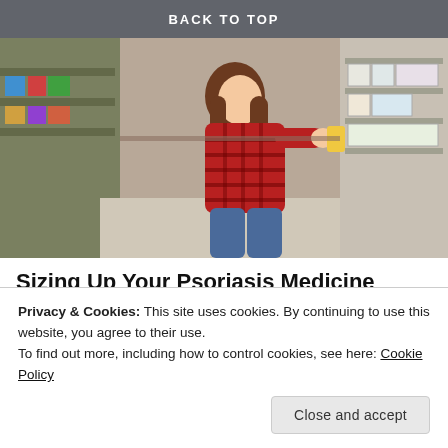BACK TO TOP
[Figure (photo): Woman in red plaid shirt crouching in a pharmacy/drugstore aisle, examining a product from the shelf. Store shelves with various products visible in the background.]
Sizing Up Your Psoriasis Medicine Cabinet
HealthCentral
SHARE THIS:
Share
Privacy & Cookies: This site uses cookies. By continuing to use this website, you agree to their use.
To find out more, including how to control cookies, see here: Cookie Policy
Close and accept